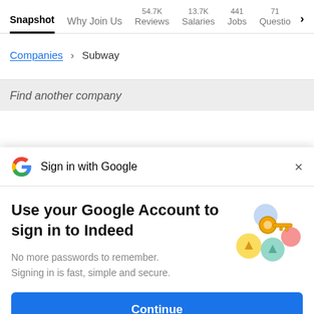Snapshot | Why Join Us | 54.7K Reviews | 13.7K Salaries | 441 Jobs | 71 Questio >
Companies > Subway
Find another company
Sign in with Google
Use your Google Account to sign in to Indeed
No more passwords to remember. Signing in is fast, simple and secure.
[Figure (illustration): Colorful Google account illustration with a golden key and circular colored icons]
Continue